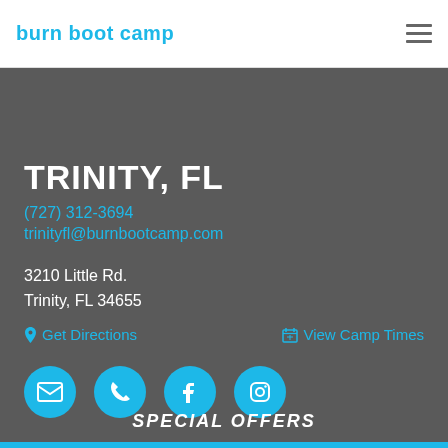burn boot camp
TRINITY, FL
(727) 312-3694
trinityfl@burnbootcamp.com
3210 Little Rd.
Trinity, FL 34655
Get Directions   View Camp Times
[Figure (other): Social media icon buttons: email, phone, Facebook, Instagram]
SPECIAL OFFERS